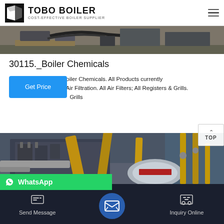TOBO BOILER — COST-EFFECTIVE BOILER SUPPLIER
[Figure (photo): Industrial boiler equipment photo strip at top of page]
30115._Boiler Chemicals
30115.,30115,Oatey,Boiler Chemicals. All Products currently ing. Air Filtration. All Air Filters; All Registers & Grills. Grills
[Figure (photo): Industrial boiler room with yellow pipes and machinery]
Send Message | Inquiry Online